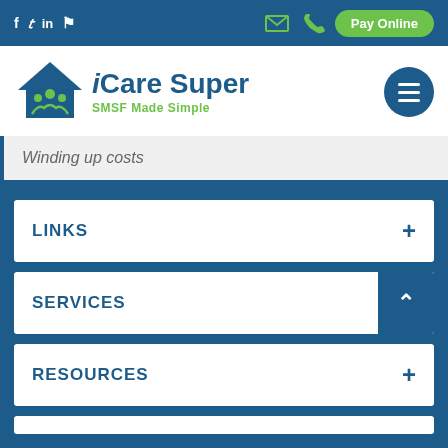iCare Super — SMSF Made Simple — top navigation bar with social icons and Pay Online button
[Figure (logo): iCare Super logo with house/family icon and tagline 'SMSF Made Simple']
Winding up costs
LINKS
SERVICES
RESOURCES